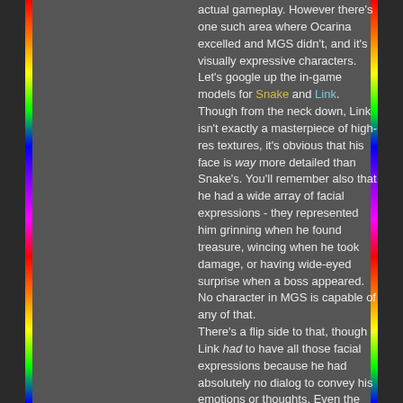actual gameplay. However there's one such area where Ocarina excelled and MGS didn't, and it's visually expressive characters. Let's google up the in-game models for Snake and Link. Though from the neck down, Link isn't exactly a masterpiece of high-res textures, it's obvious that his face is way more detailed than Snake's. You'll remember also that he had a wide array of facial expressions - they represented him grinning when he found treasure, wincing when he took damage, or having wide-eyed surprise when a boss appeared. No character in MGS is capable of any of that. There's a flip side to that, though - Link had to have all those facial expressions because he had absolutely no dialog to convey his emotions or thoughts. Even the characters in Ocarina who weren't